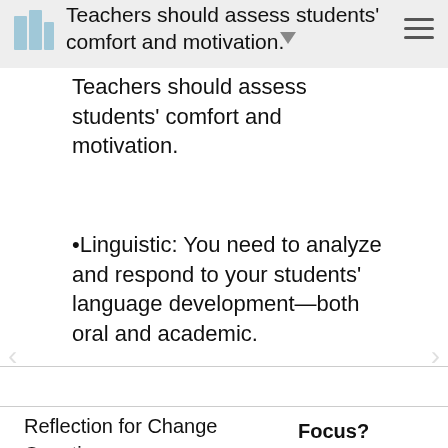Teachers should assess students' comfort and motivation.
Teachers should assess students' comfort and motivation.
•Linguistic: You need to analyze and respond to your students' language development—both oral and academic.
Reflection for Change Question:
Focus?